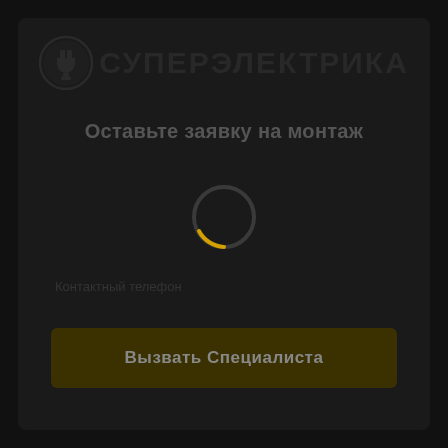[Figure (logo): СуперЭлектрика logo with electrical plug icon and Cyrillic bold text СУПЕРЭЛЕКТРИКА on dark background]
Оставьте заявку на монтаж
[Figure (other): Loading spinner circle with yellow/orange arc segment at the bottom, on dark background]
Контактный телефон
[Figure (other): Button: Вызвать Специалиста on dark yellow-brown background]